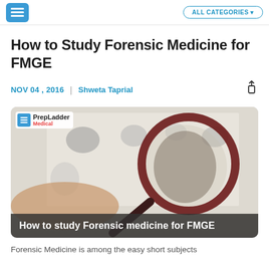PrepLadder | ALL CATEGORIES
How to Study Forensic Medicine for FMGE
NOV 04 , 2016  |  Shweta Taprial
[Figure (photo): A hand holding a magnifying glass over a fingerprint on paper, with multiple fingerprints visible. PrepLadder Medical logo visible top-left. Caption bar reads: How to study Forensic medicine for FMGE]
How to study Forensic medicine for FMGE
Forensic Medicine is among the easy short subjects